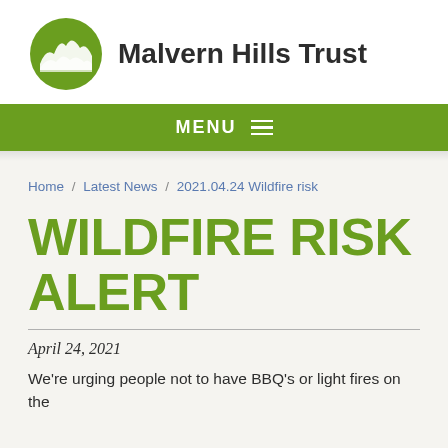[Figure (logo): Malvern Hills Trust logo: green circle with white hills/landscape silhouette, next to bold text 'Malvern Hills Trust']
MENU ≡
Home / Latest News / 2021.04.24 Wildfire risk
WILDFIRE RISK ALERT
April 24, 2021
We're urging people not to have BBQ's or light fires on the